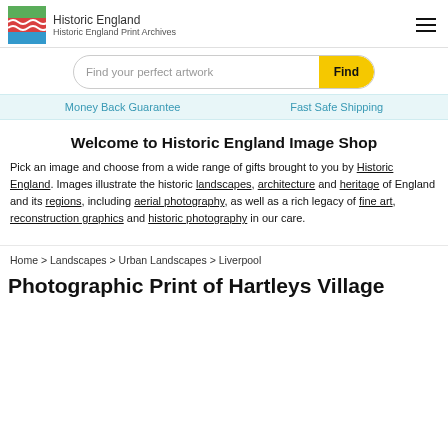[Figure (logo): Historic England logo with green, red/wave, and blue stripe flag icon next to text 'Historic England']
Historic England Print Archives
Find your perfect artwork
Money Back Guarantee    Fast Safe Shipping
Welcome to Historic England Image Shop
Pick an image and choose from a wide range of gifts brought to you by Historic England. Images illustrate the historic landscapes, architecture and heritage of England and its regions, including aerial photography, as well as a rich legacy of fine art, reconstruction graphics and historic photography in our care.
Home > Landscapes > Urban Landscapes > Liverpool
Photographic Print of Hartleys Village